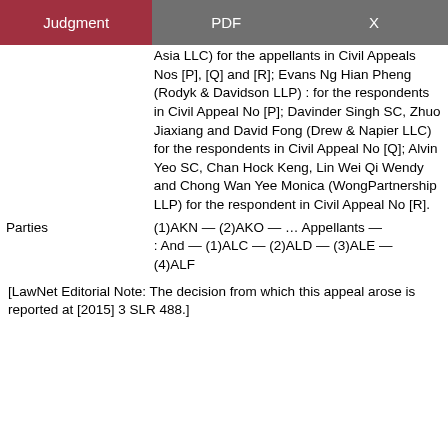| Judgment | PDF | X |
| --- | --- | --- |
|  | Asia LLC) for the appellants in Civil Appeals Nos [P], [Q] and [R]; Evans Ng Hian Pheng (Rodyk & Davidson LLP) : for the respondents in Civil Appeal No [P]; Davinder Singh SC, Zhuo Jiaxiang and David Fong (Drew & Napier LLC) for the respondents in Civil Appeal No [Q]; Alvin Yeo SC, Chan Hock Keng, Lin Wei Qi Wendy and Chong Wan Yee Monica (WongPartnership LLP) for the respondent in Civil Appeal No [R]. |
| Parties | (1)AKN — (2)AKO — … Appellants — : And — (1)ALC — (2)ALD — (3)ALE — (4)ALF |
[LawNet Editorial Note: The decision from which this appeal arose is reported at [2015] 3 SLR 488.]